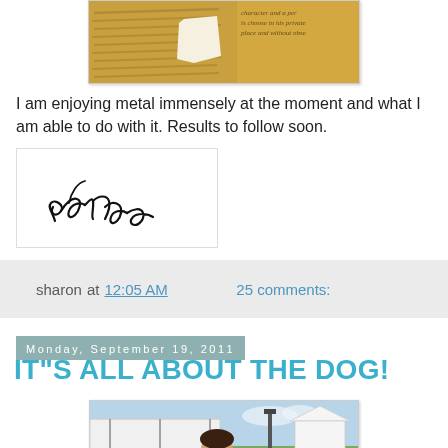[Figure (photo): Partial photo showing torn paper on a textured background with handwritten or printed text visible]
I am enjoying metal immensely at the moment and what I am able to do with it. Results to follow soon.
[Figure (illustration): Handwritten signature reading 'sharon']
sharon at 12:05 AM    25 comments:
Monday, September 19, 2011
IT"S ALL ABOUT THE DOG!
[Figure (photo): Outdoor event photo showing a woman in a black top standing in front of a large crowd at what appears to be a dog show, with white tents and a lamppost in the background]